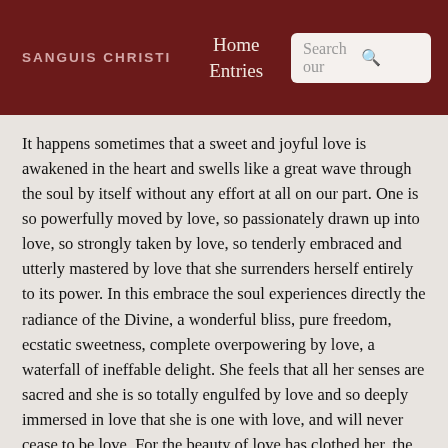SANGUIS CHRISTI | Home | Entries | Search our
It happens sometimes that a sweet and joyful love is awakened in the heart and swells like a great wave through the soul by itself without any effort at all on our part. One is so powerfully moved by love, so passionately drawn up into love, so strongly taken by love, so tenderly embraced and utterly mastered by love that she surrenders herself entirely to its power. In this embrace the soul experiences directly the radiance of the Divine, a wonderful bliss, pure freedom, ecstatic sweetness, complete overpowering by love, a waterfall of ineffable delight. She feels that all her senses are sacred and she is so totally engulfed by love and so deeply immersed in love that she is one with love, and will never cease to be love. For the beauty of love has clothed her, the power of love has submerged her, the holiness of love has consumed her, the greatness of love has so sublimely drawn her into herself that she will always love and do nothing